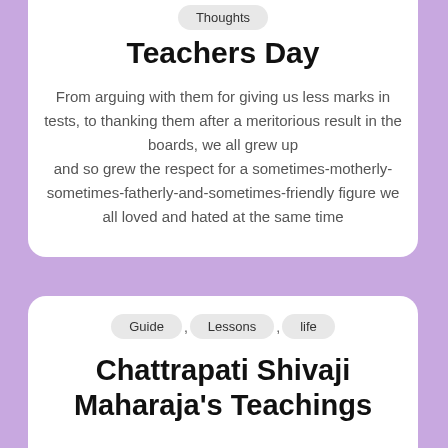Thoughts
Teachers Day
From arguing with them for giving us less marks in tests, to thanking them after a meritorious result in the boards, we all grew up and so grew the respect for a sometimes-motherly-sometimes-fatherly-and-sometimes-friendly figure we all loved and hated at the same time
Guide , Lessons , life
Chattrapati Shivaji Maharaja's Teachings